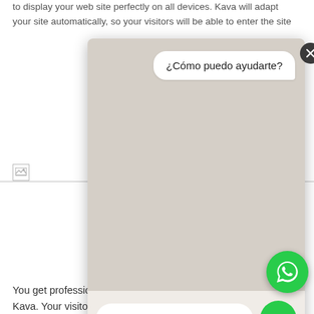to display your web site perfectly on all devices. Kava will adapt your site automatically, so your visitors will be able to enter the site
[Figure (screenshot): WhatsApp-style chat widget popup showing message '¿Cómo puedo ayudarte?' with a send button and WhatsApp FAB icon in the bottom right corner]
High Resolution Is Crucial
You get professionally prepared high resolution images with Kava. Your visitor's screen size is detected and re-scaled